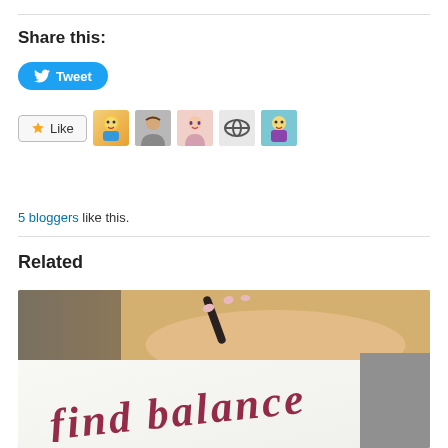Share this:
[Figure (screenshot): Twitter Tweet button — blue pill-shaped button with bird icon and 'Tweet' text]
[Figure (screenshot): Like button with star icon and 5 blogger avatar thumbnails next to it]
5 bloggers like this.
Related
[Figure (photo): Photo of a hand holding a pen writing dark red calligraphy script on white paper, with a grey background]